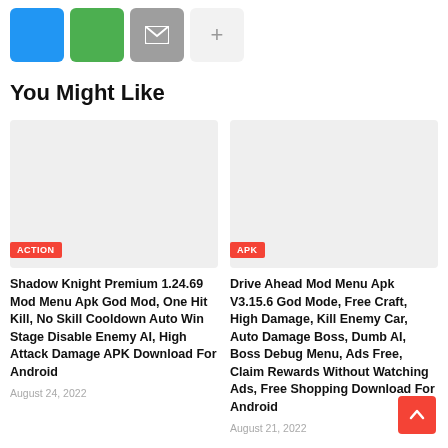[Figure (other): Row of four social sharing buttons: blue (Twitter/Facebook), green (WhatsApp/share), gray (email/envelope icon), light gray (plus/more)]
You Might Like
[Figure (other): Placeholder image card with ACTION badge for Shadow Knight article]
Shadow Knight Premium 1.24.69 Mod Menu Apk God Mod, One Hit Kill, No Skill Cooldown Auto Win Stage Disable Enemy AI, High Attack Damage APK Download For Android
August 24, 2022
[Figure (other): Placeholder image card with APK badge for Drive Ahead article]
Drive Ahead Mod Menu Apk V3.15.6 God Mode, Free Craft, High Damage, Kill Enemy Car, Auto Damage Boss, Dumb AI, Boss Debug Menu, Ads Free, Claim Rewards Without Watching Ads, Free Shopping Download For Android
August 21, 2022